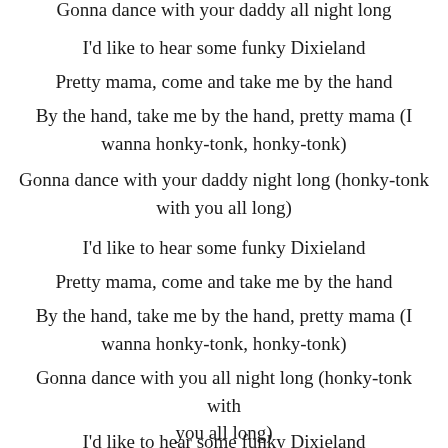Gonna dance with your daddy all night long
I'd like to hear some funky Dixieland
Pretty mama, come and take me by the hand
By the hand, take me by the hand, pretty mama (I wanna honky-tonk, honky-tonk)
Gonna dance with your daddy night long (honky-tonk with you all long)
I'd like to hear some funky Dixieland
Pretty mama, come and take me by the hand
By the hand, take me by the hand, pretty mama (I wanna honky-tonk, honky-tonk)
Gonna dance with you all night long (honky-tonk with you all long)
I'd like to hear some funky Dixieland